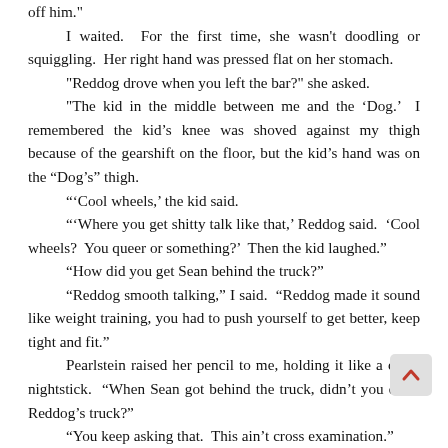off him."
	I waited.  For the first time, she wasn't doodling or squiggling.  Her right hand was pressed flat on her stomach.
	"Reddog drove when you left the bar?" she asked.
	"The kid in the middle between me and the 'Dog.'  I remembered the kid's knee was shoved against my thigh because of the gearshift on the floor, but the kid's hand was on the "Dog's" thigh.
	"'Cool wheels,' the kid said.
	"'Where you get shitty talk like that,' Reddog said.  'Cool wheels?  You queer or something?'  Then the kid laughed."
	"How did you get Sean behind the truck?"
	"Reddog smooth talking," I said.  "Reddog made it sound like weight training, you had to push yourself to get better, keep tight and fit."
	Pearlstein raised her pencil to me, holding it like a cop's nightstick.  "When Sean got behind the truck, didn't you drive Reddog's truck?"
	"You keep asking that.  This ain't cross examination."
	"I can understand it started out as a game.  But it